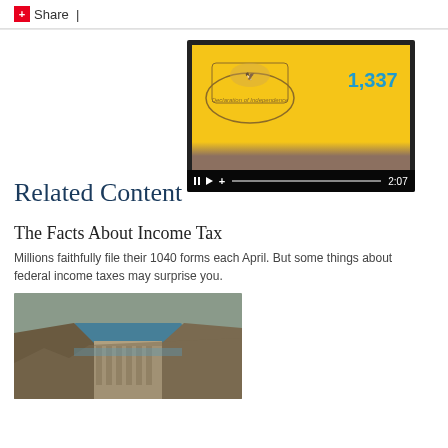Share |
Related Content
[Figure (screenshot): Hands holding a tablet showing a yellow screen with the number 1,337 and a historical illustration, with video player controls at the bottom showing timestamp 2:07]
The Facts About Income Tax
Millions faithfully file their 1040 forms each April. But some things about federal income taxes may surprise you.
[Figure (photo): Aerial photograph of a large dam (Hoover Dam) with a river and rocky canyon landscape]